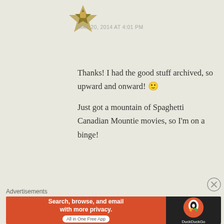[Figure (logo): User avatar icon — gold/olive compass-like emblem on light background]
MAY 20, 2014 AT 4:01 PM
Thanks! I had the good stuff archived, so upward and onward! 🙂

Just got a mountain of Spaghetti Canadian Mountie movies, so I'm on a binge!
★ Like
REPLY
[Figure (other): Close/dismiss circle button (X)]
Advertisements
[Figure (other): DuckDuckGo advertisement banner: orange left side with text 'Search, browse, and email with more privacy. All in One Free App', dark right side with DuckDuckGo duck logo]